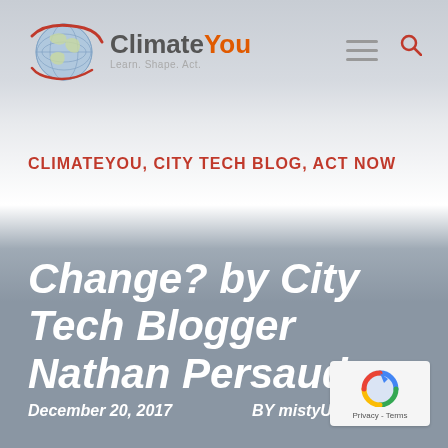[Figure (logo): ClimateYou logo with globe graphic, text 'ClimateYou' and tagline 'Learn. Shape. Act.']
CLIMATEYOU, CITY TECH BLOG, ACT NOW
Change? by City Tech Blogger Nathan Persaud
December 20, 2017    BY mistyUser